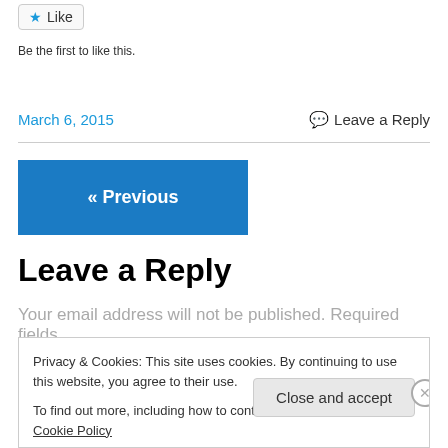Like
Be the first to like this.
March 6, 2015
Leave a Reply
« Previous
Leave a Reply
Your email address will not be published. Required fields
Privacy & Cookies: This site uses cookies. By continuing to use this website, you agree to their use.
To find out more, including how to control cookies, see here: Cookie Policy
Close and accept